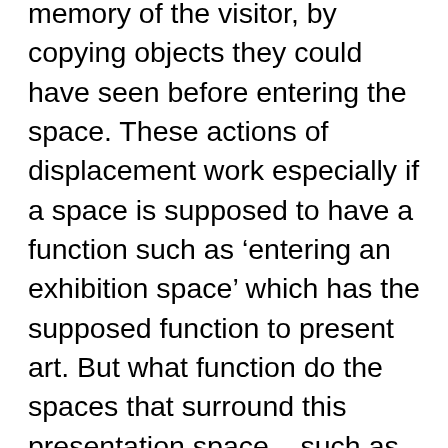memory of the visitor, by copying objects they could have seen before entering the space. These actions of displacement work especially if a space is supposed to have a function such as 'entering an exhibition space' which has the supposed function to present art. But what function do the spaces that surround this presentation space – such as the corridor or the outside world – have? Are these spaces subservient? My interest lays in questioning when something is appointed to play a certain role – and I wonder what happens when it steps outside of that role. I suppose I try to somehow enter the perception of someone. When did you come to the conclusion that things are real or definable? Should we not question those things over and over again?